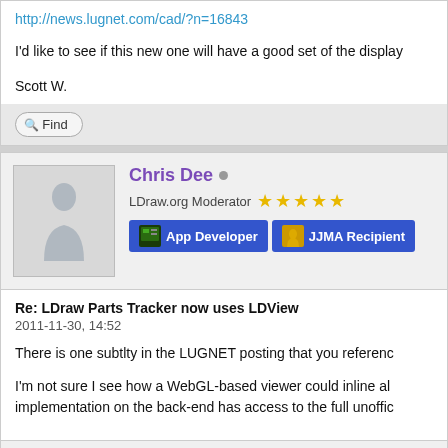http://news.lugnet.com/cad/?n=16843
I'd like to see if this new one will have a good set of the display
Scott W.
Find
Chris Dee
LDraw.org Moderator
App Developer
JJMA Recipient
Re: LDraw Parts Tracker now uses LDView
2011-11-30, 14:52
There is one subtlty in the LUGNET posting that you referenc
I'm not sure I see how a WebGL-based viewer could inline al implementation on the back-end has access to the full unoffic
Chris (LDraw Parts Library Admin)